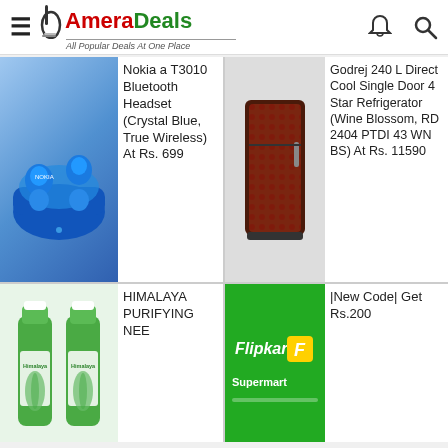AmeraDeals - All Popular Deals At One Place
[Figure (screenshot): Nokia T3010 Bluetooth earbuds in blue charging case]
Nokia a T3010 Bluetooth Headset (Crystal Blue, True Wireless) At Rs. 699
[Figure (screenshot): Godrej 240L refrigerator in wine blossom color]
Godrej 240 L Direct Cool Single Door 4 Star Refrigerator (Wine Blossom, RD 2404 PTDI 43 WN BS) At Rs. 11590
[Figure (screenshot): Himalaya Purifying Neem face wash bottles]
HIMALAYA PURIFYING NEE
[Figure (screenshot): Flipkart Supermart logo on green background]
|New Code| Get Rs.200